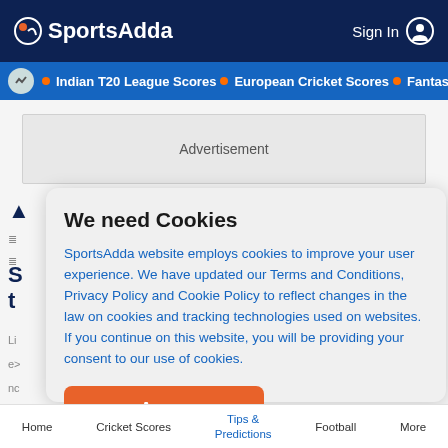SportsAdda  Sign In
Indian T20 League Scores • European Cricket Scores • Fantasy C
[Figure (screenshot): Advertisement banner placeholder]
We need Cookies
SportsAdda website employs cookies to improve your user experience. We have updated our Terms and Conditions, Privacy Policy and Cookie Policy to reflect changes in the law on cookies and tracking technologies used on websites. If you continue on this website, you will be providing your consent to our use of cookies.
Agree
Home  Cricket Scores  Tips & Predictions  Football  More